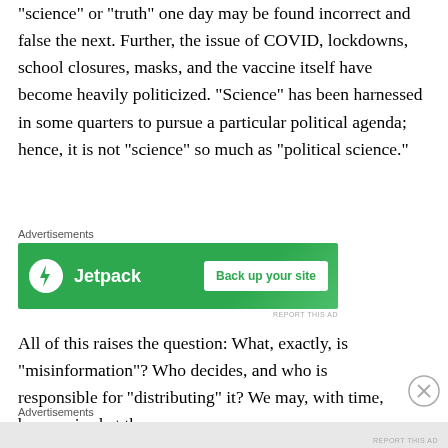“science” or “truth” one day may be found incorrect and false the next.  Further, the issue of COVID, lockdowns, school closures, masks, and the vaccine itself have become heavily politicized.  “Science” has been harnessed in some quarters to pursue a particular political agenda; hence, it is not “science” so much as “political science.”
[Figure (screenshot): Jetpack advertisement banner: green background with Jetpack logo and lightning bolt icon on the left, white 'Back up your site' button on the right. 'Advertisements' label above.]
All of this raises the question: What, exactly, is “misinformation”? Who decides, and who is responsible for “distributing” it?  We may, with time, be surprised at the
Advertisements